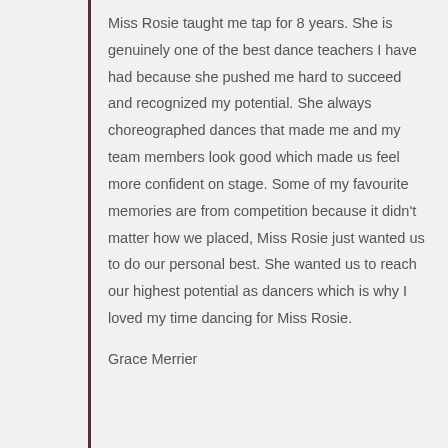Miss Rosie taught me tap for 8 years. She is genuinely one of the best dance teachers I have had because she pushed me hard to succeed and recognized my potential. She always choreographed dances that made me and my team members look good which made us feel more confident on stage. Some of my favourite memories are from competition because it didn't matter how we placed, Miss Rosie just wanted us to do our personal best. She wanted us to reach our highest potential as dancers which is why I loved my time dancing for Miss Rosie.
Grace Merrier